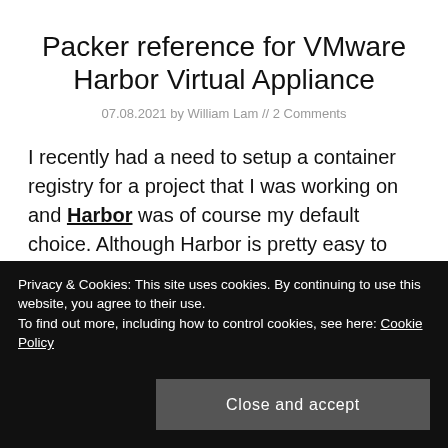Packer reference for VMware Harbor Virtual Appliance
07.08.2021 by William Lam // 2 Comments
I recently had a need to setup a container registry for a project that I was working on and Harbor was of course my default choice. Although Harbor is pretty easy to setup, I did not want to manually go through the installation each time I needed Harbor
Privacy & Cookies: This site uses cookies. By continuing to use this website, you agree to their use.
To find out more, including how to control cookies, see here: Cookie Policy
Close and accept